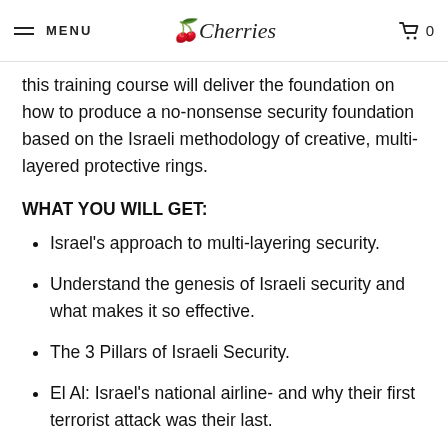MENU | Cherries | 0
this training course will deliver the foundation on how to produce a no-nonsense security foundation based on the Israeli methodology of creative, multi-layered protective rings.
WHAT YOU WILL GET:
Israel's approach to multi-layering security.
Understand the genesis of Israeli security and what makes it so effective.
The 3 Pillars of Israeli Security.
El Al: Israel's national airline- and why their first terrorist attack was their last.